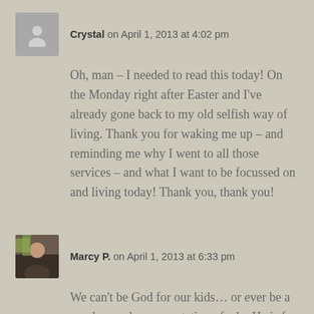Crystal on April 1, 2013 at 4:02 pm
Oh, man – I needed to read this today! On the Monday right after Easter and I've already gone back to my old selfish way of living. Thank you for waking me up – and reminding me why I went to all those services – and what I want to be focussed on and living today! Thank you, thank you!
Marcy P. on April 1, 2013 at 6:33 pm
We can't be God for our kids… or ever be a good enough representation of who He is for